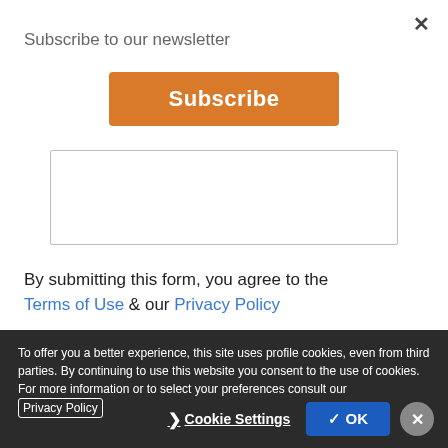Subscribe to our newsletter
[Figure (screenshot): Orange Subscribe button]
[Figure (screenshot): Text area input box]
By submitting this form, you agree to the Terms of Use & our Privacy Policy
To offer you a better experience, this site uses profile cookies, even from third parties. By continuing to use this website you consent to the use of cookies. For more information or to select your preferences consult our Privacy Policy
Cookie Settings
✓ OK